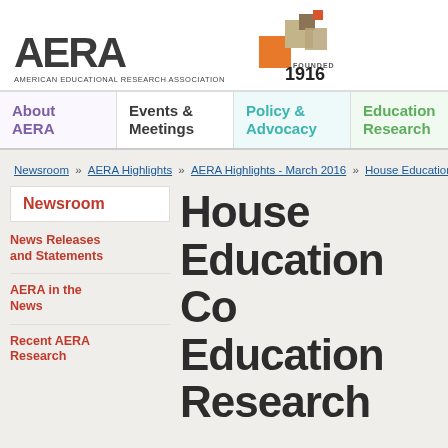[Figure (logo): AERA logo with colored geometric squares and 'FOUNDED 1916' text. AMERICAN EDUCATIONAL RESEARCH ASSOCIATION wordmark below.]
About AERA | Events & Meetings | Policy & Advocacy | Education Research
Newsroom » AERA Highlights » AERA Highlights - March 2016 » House Education
Newsroom
News Releases and Statements
AERA in the News
Recent AERA Research
House Education Co Education Research